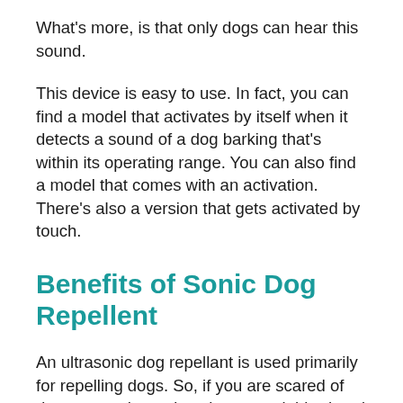What’s more, is that only dogs can hear this sound.
This device is easy to use. In fact, you can find a model that activates by itself when it detects a sound of a dog barking that’s within its operating range. You can also find a model that comes with an activation. There’s also a version that gets activated by touch.
Benefits of Sonic Dog Repellent
An ultrasonic dog repellant is used primarily for repelling dogs. So, if you are scared of dogs or you have dogs in your neighborhood